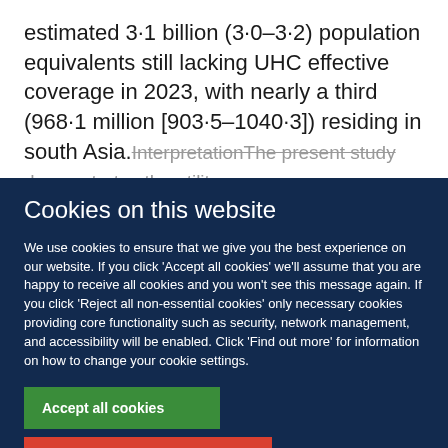estimated 3·1 billion (3·0–3·2) population equivalents still lacking UHC effective coverage in 2023, with nearly a third (968·1 million [903·5–1040·3]) residing in south Asia.InterpretationThe present study demonstrates the utility
Cookies on this website
We use cookies to ensure that we give you the best experience on our website. If you click 'Accept all cookies' we'll assume that you are happy to receive all cookies and you won't see this message again. If you click 'Reject all non-essential cookies' only necessary cookies providing core functionality such as security, network management, and accessibility will be enabled. Click 'Find out more' for information on how to change your cookie settings.